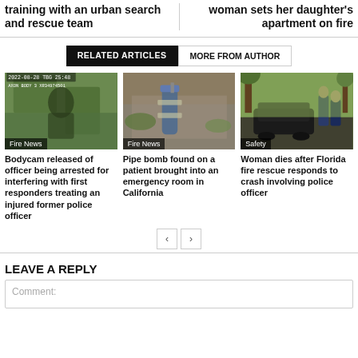training with an urban search and rescue team
woman sets her daughter's apartment on fire
RELATED ARTICLES | MORE FROM AUTHOR
[Figure (photo): Bodycam police arrest footage screenshot]
Fire News
Bodycam released of officer being arrested for interfering with first responders treating an injured former police officer
[Figure (photo): Pipe bomb found on concrete surface]
Fire News
Pipe bomb found on a patient brought into an emergency room in California
[Figure (photo): Crashed car with fire rescue officers]
Safety
Woman dies after Florida fire rescue responds to crash involving police officer
LEAVE A REPLY
Comment: